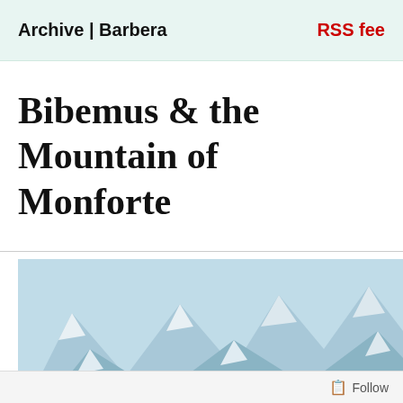Archive | Barbera   RSS fee
Bibemus & the Mountain of Monforte
[Figure (photo): A woman standing with arms outstretched against a backdrop of snow-capped mountains, reminiscent of a scene from The Sound of Music.]
Follow